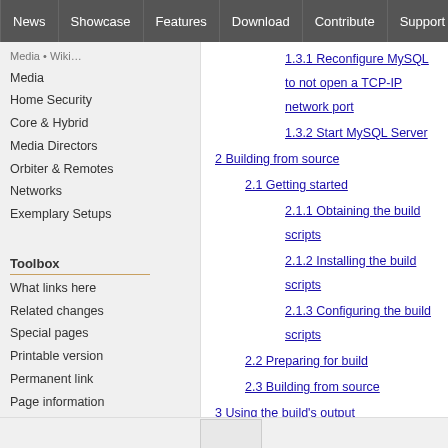News | Showcase | Features | Download | Contribute | Support
Media
Home Security
Core & Hybrid
Media Directors
Orbiter & Remotes
Networks
Exemplary Setups
Toolbox
What links here
Related changes
Special pages
Printable version
Permanent link
Page information
1.3.1 Reconfigure MySQL to not open a TCP-IP network port
1.3.2 Start MySQL Server
2 Building from source
2.1 Getting started
2.1.1 Obtaining the build scripts
2.1.2 Installing the build scripts
2.1.3 Configuring the build scripts
2.2 Preparing for build
2.3 Building from source
3 Using the build's output
4 Notes
4.1 Without -j 2
4.2 With -j 2
4.3 Notes for installing on a virgin Kubuntu installation (no chroot)